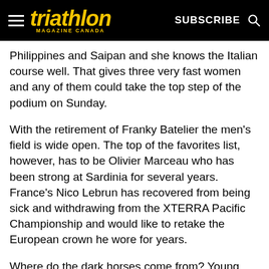triathlon MAGAZINE CANADA | SUBSCRIBE
Philippines and Saipan and she knows the Italian course well. That gives three very fast women and any of them could take the top step of the podium on Sunday.
With the retirement of Franky Batelier the men's field is wide open. The top of the favorites list, however, has to be Olivier Marceau who has been strong at Sardinia for several years. France's Nico Lebrun has recovered from being sick and withdrawing from the XTERRA Pacific Championship and would like to retake the European crown he wore for years.
Where do the dark horses come from? Young Yeray Luxem of Belgium was coming on strong at the end of last season and may be poised to start taking some money from the established stars. England's Ian Leitch was also strong last season and Belgium's Jim